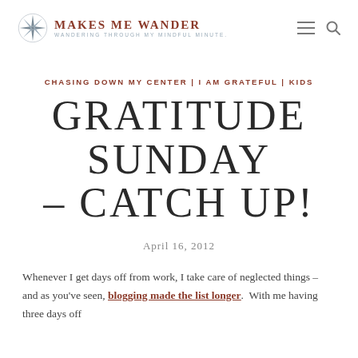MAKES ME WANDER — WANDERING THROUGH MY MINDFUL MINUTE.
CHASING DOWN MY CENTER | I AM GRATEFUL | KIDS
GRATITUDE SUNDAY – CATCH UP!
April 16, 2012
Whenever I get days off from work, I take care of neglected things – and as you've seen, blogging made the list longer. With me having three days off